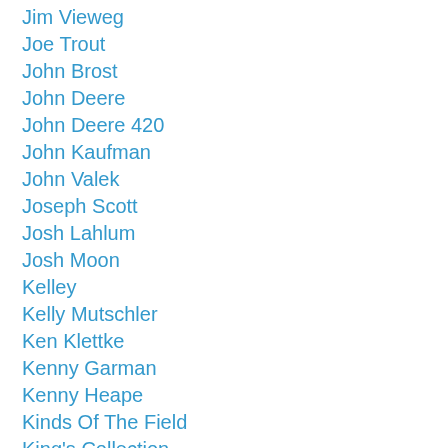Jim Vieweg
Joe Trout
John Brost
John Deere
John Deere 420
John Kaufman
John Valek
Joseph Scott
Josh Lahlum
Josh Moon
Kelley
Kelly Mutschler
Ken Klettke
Kenny Garman
Kenny Heape
Kinds Of The Field
King's Collection
Larry Poos
Larry Spear
Layne Atwater
Lee's Beet Receiving Station